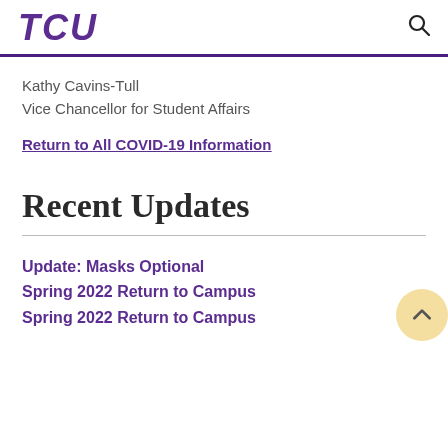TCU
Kathy Cavins-Tull
Vice Chancellor for Student Affairs
Return to All COVID-19 Information
Recent Updates
Update: Masks Optional
Spring 2022 Return to Campus
Spring 2022 Return to Campus